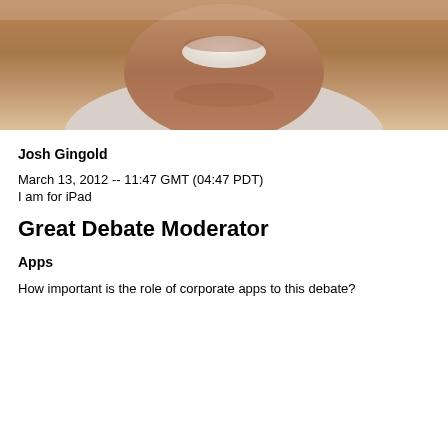[Figure (photo): Headshot photo of Josh Gingold, a man smiling, cropped to show lower face and neck]
Josh Gingold
March 13, 2012 -- 11:47 GMT (04:47 PDT)
I am for iPad
Great Debate Moderator
Apps
How important is the role of corporate apps to this debate?